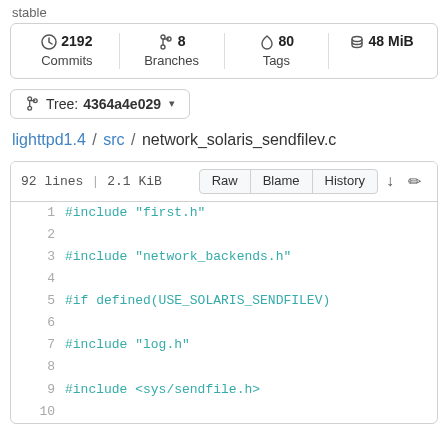stable
2192 Commits | 8 Branches | 80 Tags | 48 MiB
Tree: 4364a4e029
lighttpd1.4 / src / network_solaris_sendfilev.c
92 lines | 2.1 KiB  Raw  Blame  History
1  #include "first.h"
2
3  #include "network_backends.h"
4
5  #if defined(USE_SOLARIS_SENDFILEV)
6
7  #include "log.h"
8
9  #include <sys/sendfile.h>
10